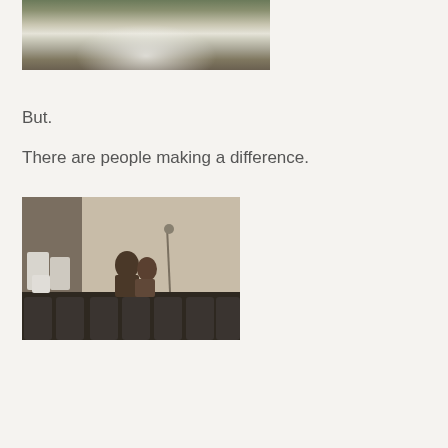[Figure (photo): Partial top photo showing an outdoor or overhead scene with muted earth tones, appears to be cropped at the top of the page]
But.
There are people making a difference.
[Figure (photo): Indoor photo showing rows of dark chairs/seats in what appears to be an auditorium or meeting room, with two people visible in the background near a wall]